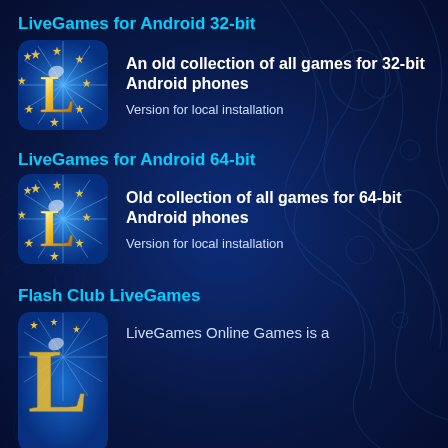LiveGames for Android 32-bit
[Figure (logo): LiveGames app icon with golden L letter and stars on blue background]
An old collection of all games for 32-bit Android phones
Version for local installation
LiveGames for Android 64-bit
[Figure (logo): LiveGames app icon with golden L letter and stars on blue background]
Old collection of all games for 64-bit Android phones
Version for local installation
Flash Club LiveGames
[Figure (logo): Partial LiveGames icon visible at bottom]
LiveGames Online Games is a